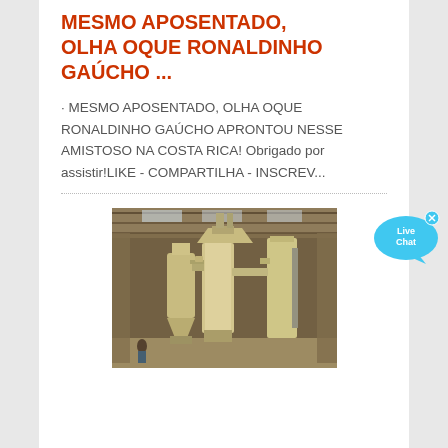MESMO APOSENTADO, OLHA OQUE RONALDINHO GAÚCHO ...
· MESMO APOSENTADO, OLHA OQUE RONALDINHO GAÚCHO APRONTOU NESSE AMISTOSO NA COSTA RICA! Obrigado por assistir!LIKE - COMPARTILHA - INSCREV...
[Figure (photo): Industrial machinery/mill equipment inside a large warehouse or factory building]